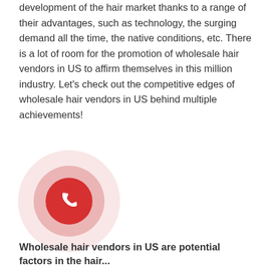development of the hair market thanks to a range of their advantages, such as technology, the surging demand all the time, the native conditions, etc. There is a lot of room for the promotion of wholesale hair vendors in US to affirm themselves in this million industry. Let's check out the competitive edges of wholesale hair vendors in US behind multiple achievements!
[Figure (illustration): A phone/call widget icon: three concentric circles with the outermost being a very light pink, the middle a medium pink, and the innermost a solid red circle containing a white telephone handset icon.]
Wholesale hair vendors in US are potential factors in the hair...